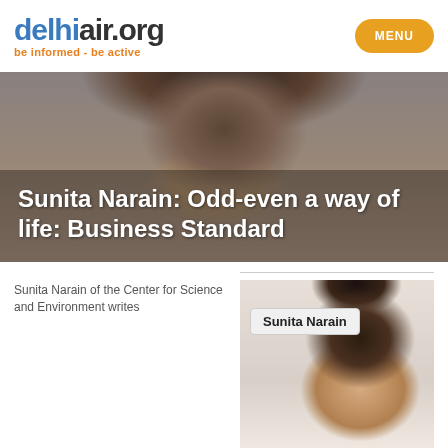delhiair.org — be informed - be active | MENU
[Figure (photo): Portrait photo of Sunita Narain used as hero banner background, partially cropped, showing face from forehead to chin against dark background, with transparent overlay]
Sunita Narain: Odd-even a way of life: Business Standard
Sunita Narain of the Center for Science and Environment writes
[Figure (photo): Portrait photo of Sunita Narain, woman with black hair, labeled with a tooltip box reading 'Sunita Narain']